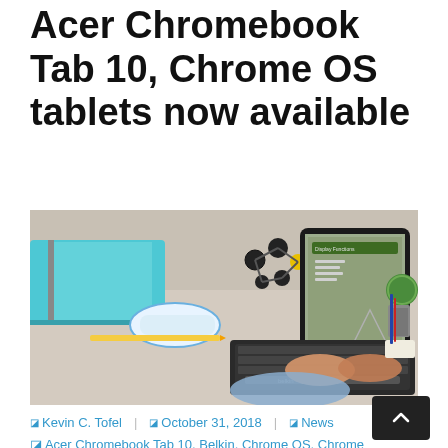Acer Chromebook Tab 10, Chrome OS tablets now available
[Figure (photo): Student using an Acer Chromebook Tab 10 tablet with a Belkin keyboard, alongside school supplies and molecular model on a desk]
Kevin C. Tofel   October 31, 2018   News
Acer Chromebook Tab 10, Belkin, Chrome OS, Chrome...